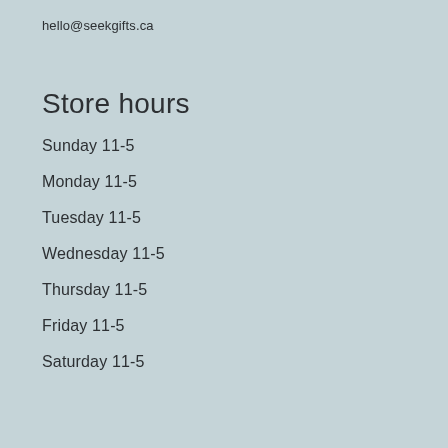hello@seekgifts.ca
Store hours
Sunday 11-5
Monday 11-5
Tuesday 11-5
Wednesday 11-5
Thursday 11-5
Friday 11-5
Saturday 11-5